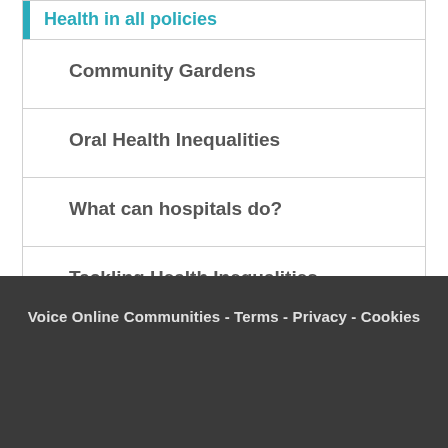Health in all policies
Community Gardens
Oral Health Inequalities
What can hospitals do?
Tackling Health Inequalities
Implications for Healthy Ageing
Voice Online Communities - Terms - Privacy - Cookies